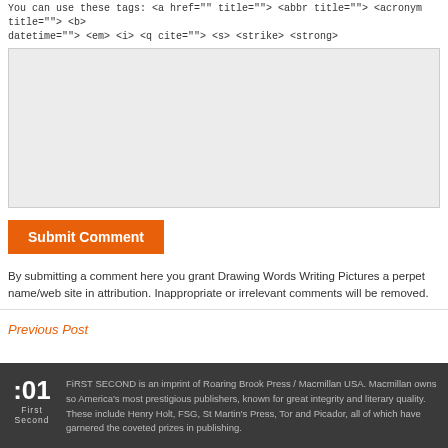You can use these tags: <a href="" title=""> <abbr title=""> <acronym title=""> <b> datetime=""> <em> <i> <q cite=""> <s> <strike> <strong>
[Figure (other): Comment textarea input box with light gray background]
Submit Comment
By submitting a comment here you grant Drawing Words Writing Pictures a perpetual name/web site in attribution. Inappropriate or irrelevant comments will be removed.
Previous Post
FiRST SECOND is an imprint of Roaring Brook Press / Macmillan USA. Macmillan owns some of America's most prestigious publishers, known for great integrity and literary quality. These include Henry Holt, FSG, St Martin's Press, Tor and Picador, all of which have garnered the most coveted prizes in publishing.